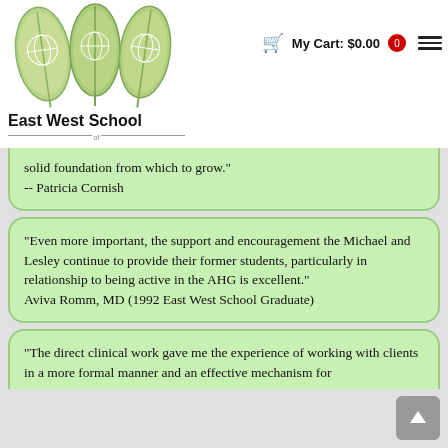[Figure (logo): East West School of Planetary Herbology logo — three leaf shapes with globe illustrations in green tones]
East West School of Planetary Herbology
My Cart: $0.00  0
solid foundation from which to grow."
-- Patricia Cornish
"Even more important, the support and encouragement the Michael and Lesley continue to provide their former students, particularly in relationship to being active in the AHG is excellent."
Aviva Romm, MD (1992 East West School Graduate)
"The direct clinical work gave me the experience of working with clients in a more formal manner and an effective mechanism for